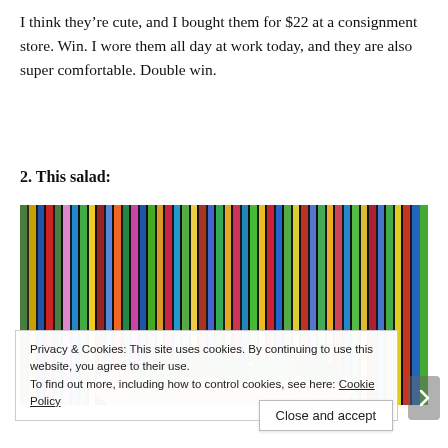I think they’re cute, and I bought them for $22 at a consignment store. Win. I wore them all day at work today, and they are also super comfortable. Double win.
2. This salad:
[Figure (photo): A salad in a bowl photographed against a colorful striped textile background with vertical stripes in green, blue, pink, yellow, red, and other colors. The bowl is beige/tan and contains dark green leafy greens.]
Privacy & Cookies: This site uses cookies. By continuing to use this website, you agree to their use.
To find out more, including how to control cookies, see here: Cookie Policy
Close and accept